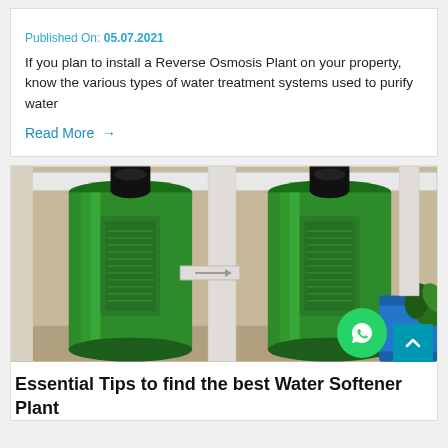Published On: 05.07.2021
If you plan to install a Reverse Osmosis Plant on your property, know the various types of water treatment systems used to purify water
Read More →
[Figure (photo): Two large green water softener/filter tanks standing upright connected with white PVC pipes. A blue barrel and a small plant are visible on the right side. Background is a beige/cream wall.]
Essential Tips to find the best Water Softener Plant